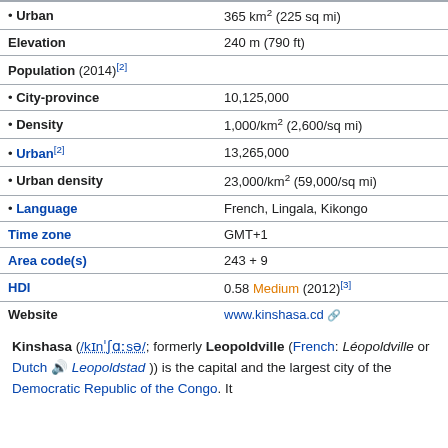| • Urban | 365 km² (225 sq mi) |
| Elevation | 240 m (790 ft) |
| Population (2014)[2] |  |
| • City-province | 10,125,000 |
| • Density | 1,000/km² (2,600/sq mi) |
| • Urban[2] | 13,265,000 |
| • Urban density | 23,000/km² (59,000/sq mi) |
| • Language | French, Lingala, Kikongo |
| Time zone | GMT+1 |
| Area code(s) | 243 + 9 |
| HDI | 0.58 Medium (2012)[3] |
| Website | www.kinshasa.cd |
Kinshasa (/kɪnˈʃɑːsə/; formerly Leopoldville (French: Léopoldville or Dutch 🔊 Leopoldstad )) is the capital and the largest city of the Democratic Republic of the Congo. It